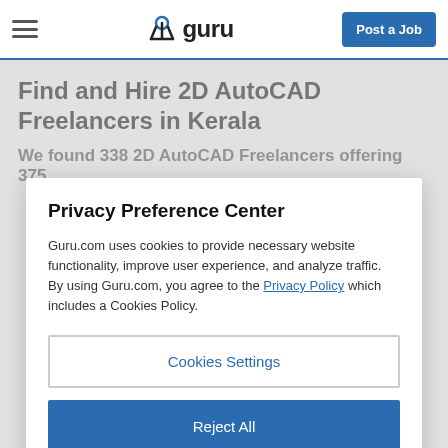guru - Post a Job
Find and Hire 2D AutoCAD Freelancers in Kerala
We found 338 2D AutoCAD Freelancers offering 375
Privacy Preference Center
Guru.com uses cookies to provide necessary website functionality, improve user experience, and analyze traffic. By using Guru.com, you agree to the Privacy Policy which includes a Cookies Policy.
Cookies Settings
Reject All
Accept All Cookies